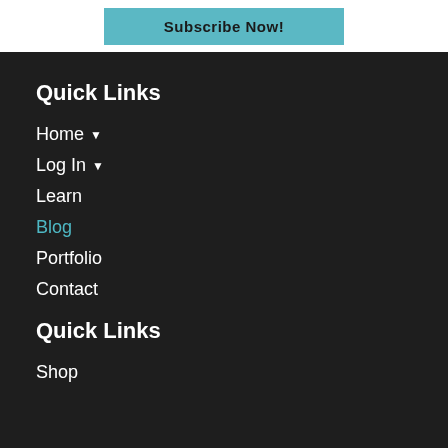Subscribe Now!
Quick Links
Home ▾
Log In ▾
Learn
Blog
Portfolio
Contact
Quick Links
Shop